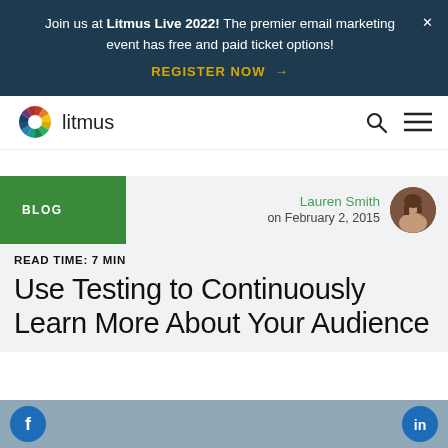Join us at Litmus Live 2022! The premier email marketing event has free and paid ticket options! REGISTER NOW →
[Figure (logo): Litmus logo with colorful circular icon and wordmark 'litmus']
Lauren Smith on February 2, 2015
READ TIME: 7 MIN
Use Testing to Continuously Learn More About Your Audience